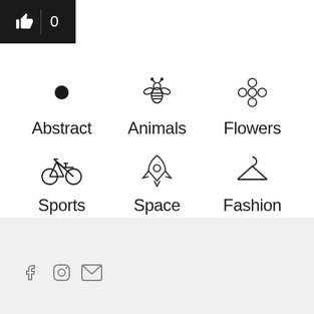[Figure (screenshot): Like button UI element with thumbs up icon and count 0 on dark background]
[Figure (infographic): Category grid with 6 items: Abstract (dot), Animals (bee icon), Flowers (flower icon), Sports (bicycle icon), Space (rocket icon), Fashion (hanger icon)]
[Figure (infographic): Social media icons: Facebook, Instagram, Email on gray footer section]